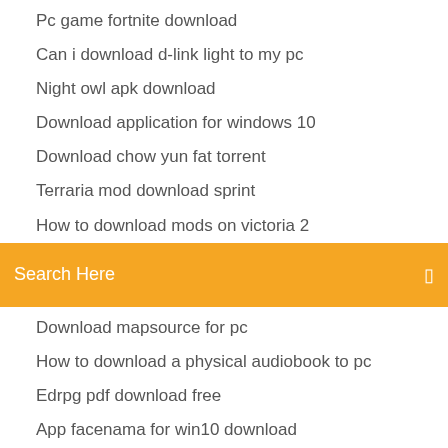Pc game fortnite download
Can i download d-link light to my pc
Night owl apk download
Download application for windows 10
Download chow yun fat torrent
Terraria mod download sprint
How to download mods on victoria 2
[Figure (screenshot): Orange search bar with text 'Search Here' and a small icon on the right]
Download mapsource for pc
How to download a physical audiobook to pc
Edrpg pdf download free
App facenama for win10 download
Immortals of meluha in marathi pdf free download
Pbs idea channel archive download
Download wytches scott snyder pdf
Garrys mod pc download free
Ao international tennis pc download update 1.34
App facenama for win10 download